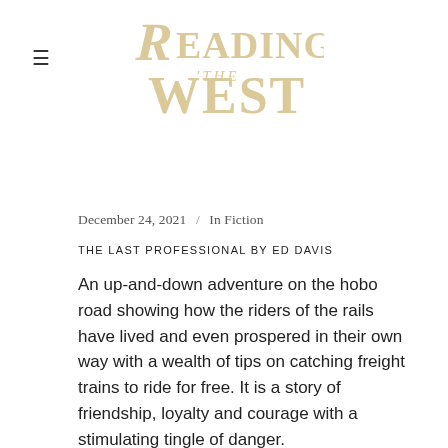[Figure (logo): Reading the West decorative logo in tan/gold serif display lettering]
December 24, 2021  /  In Fiction
THE LAST PROFESSIONAL BY ED DAVIS
An up-and-down adventure on the hobo road showing how the riders of the rails have lived and even prospered in their own way with a wealth of tips on catching freight trains to ride for free. It is a story of friendship, loyalty and courage with a stimulating tingle of danger.